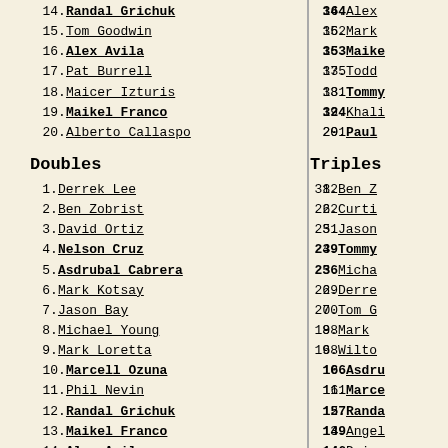14. Randal Grichuk 364
15. Tom Goodwin 362
16. Alex Avila 353
17. Pat Burrell 335
18. Maicer Izturis 331
19. Maikel Franco 324
20. Alberto Callaspo 291
Doubles
1. Derrek Lee 382
2. Ben Zobrist 262
3. David Ortiz 251
4. Nelson Cruz 239
5. Asdrubal Cabrera 236
6. Mark Kotsay 229
7. Jason Bay 200
8. Michael Young 198
9. Mark Loretta 168
10. Marcell Ozuna 166
11. Phil Nevin 161
12. Randal Grichuk 157
13. Maikel Franco 149
14. Alex Avila 146
15. Khalil Greene 125
16. Tommy Pham 124
17. Maicer Izturis 123
18. Curtis Granderson 120
19. Pat Burrell 109
20. Todd Zeile 107
Triples
1. Ben Z...
2. Curti...
3. Jason...
4. Tommy...
5. Micha...
6. Derre...
7. Tom G...
8. Mark ...
9. Wilto...
10. Asdru...
11. Marce...
12. Randa...
13. Angel...
14. Deion...
15. Corey...
16. Alex ...
17. Maice...
18. Dave ...
19. Nelso...
20. Mark ...